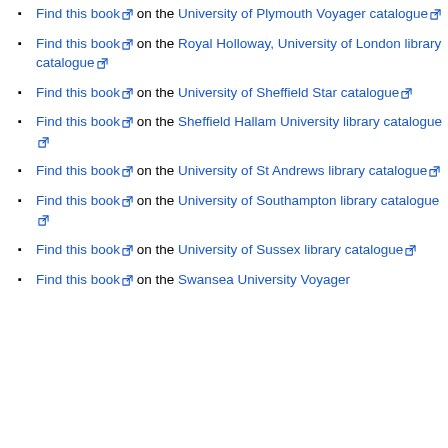Find this book on the University of Plymouth Voyager catalogue
Find this book on the Royal Holloway, University of London library catalogue
Find this book on the University of Sheffield Star catalogue
Find this book on the Sheffield Hallam University library catalogue
Find this book on the University of St Andrews library catalogue
Find this book on the University of Southampton library catalogue
Find this book on the University of Sussex library catalogue
Find this book on the Swansea University Voyager